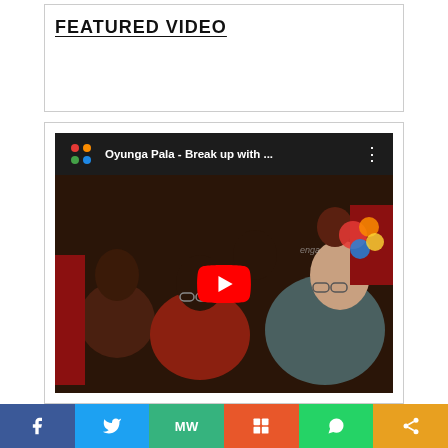FEATURED VIDEO
[Figure (screenshot): YouTube video thumbnail showing audience members watching a screen, with video title 'Oyunga Pala - Break up with ...' displayed in the YouTube player bar. A red YouTube play button is overlaid in the center.]
Social share bar with Facebook, Twitter, MagaWord, Mix, WhatsApp, and Share buttons